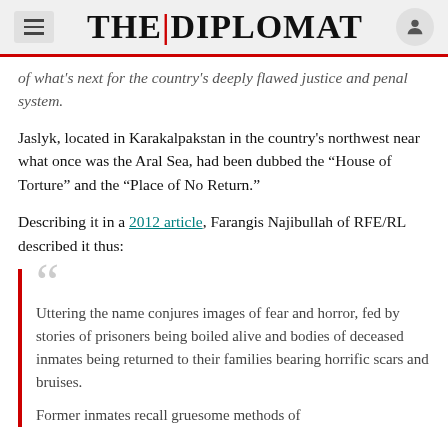THE DIPLOMAT
of what's next for the country's deeply flawed justice and penal system.
Jaslyk, located in Karakalpakstan in the country's northwest near what once was the Aral Sea, had been dubbed the “House of Torture” and the “Place of No Return.”
Describing it in a 2012 article, Farangis Najibullah of RFE/RL described it thus:
Uttering the name conjures images of fear and horror, fed by stories of prisoners being boiled alive and bodies of deceased inmates being returned to their families bearing horrific scars and bruises.
Former inmates recall gruesome methods of